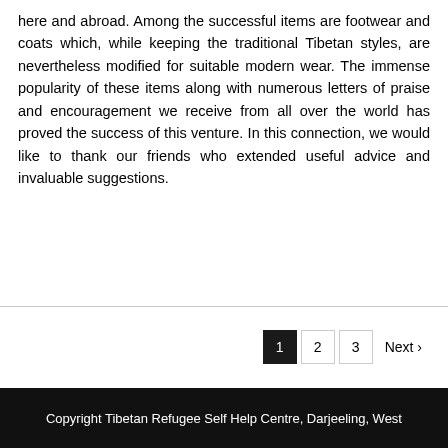here and abroad. Among the successful items are footwear and coats which, while keeping the traditional Tibetan styles, are nevertheless modified for suitable modern wear. The immense popularity of these items along with numerous letters of praise and encouragement we receive from all over the world has proved the success of this venture. In this connection, we would like to thank our friends who extended useful advice and invaluable suggestions.
Copyright Tibetan Refugee Self Help Centre, Darjeeling, West